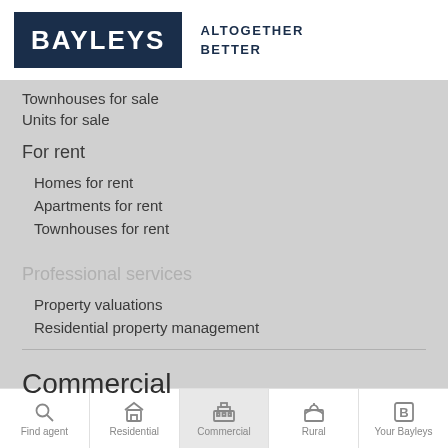BAYLEYS ALTOGETHER BETTER
Townhouses for sale
Units for sale
For rent
Homes for rent
Apartments for rent
Townhouses for rent
Professional services
Property valuations
Residential property management
Commercial
Find agent | Residential | Commercial | Rural | Your Bayleys